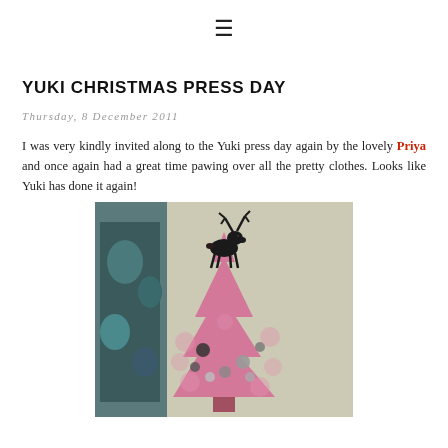☰
YUKI CHRISTMAS PRESS DAY
Thursday, 8 December 2011
I was very kindly invited along to the Yuki press day again by the lovely Priya and once again had a great time pawing over all the pretty clothes. Looks like Yuki has done it again!
[Figure (photo): A pink Christmas tree decorated with baubles and a black reindeer silhouette on top, with a person in patterned clothing visible on the left side.]